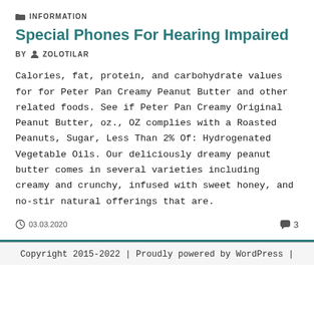INFORMATION
Special Phones For Hearing Impaired
BY ZOLOTILAR
Calories, fat, protein, and carbohydrate values for for Peter Pan Creamy Peanut Butter and other related foods. See if Peter Pan Creamy Original Peanut Butter, oz., OZ complies with a Roasted Peanuts, Sugar, Less Than 2% Of: Hydrogenated Vegetable Oils. Our deliciously dreamy peanut butter comes in several varieties including creamy and crunchy, infused with sweet honey, and no-stir natural offerings that are.
03.03.2020   3
Copyright 2015-2022 | Proudly powered by WordPress |